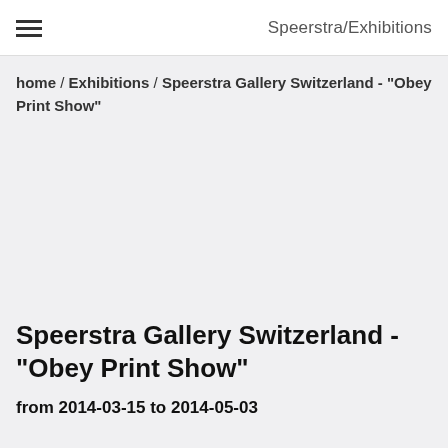Speerstra/Exhibitions
home / Exhibitions / Speerstra Gallery Switzerland - "Obey Print Show"
Speerstra Gallery Switzerland - "Obey Print Show"
from 2014-03-15 to 2014-05-03